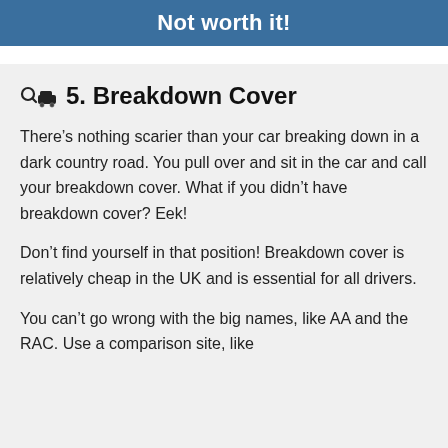Not worth it!
5. Breakdown Cover
There’s nothing scarier than your car breaking down in a dark country road. You pull over and sit in the car and call your breakdown cover. What if you didn’t have breakdown cover? Eek!
Don’t find yourself in that position! Breakdown cover is relatively cheap in the UK and is essential for all drivers.
You can’t go wrong with the big names, like AA and the RAC. Use a comparison site, like